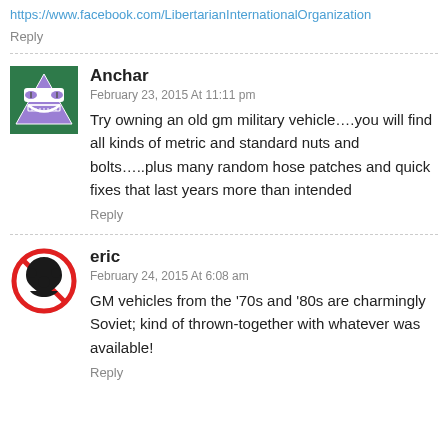https://www.facebook.com/LibertarianInternationalOrganization
Reply
Anchar
February 23, 2015 At 11:11 pm
Try owning an old gm military vehicle….you will find all kinds of metric and standard nuts and bolts…..plus many random hose patches and quick fixes that last years more than intended
Reply
eric
February 24, 2015 At 6:08 am
GM vehicles from the ‘70s and ‘80s are charmingly Soviet; kind of thrown-together with whatever was available!
Reply